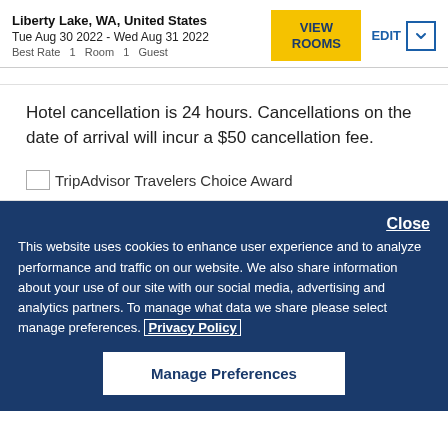Liberty Lake, WA, United States
Tue Aug 30 2022 - Wed Aug 31 2022
Best Rate  1  Room  1  Guest
Hotel cancellation is 24 hours. Cancellations on the date of arrival will incur a $50 cancellation fee.
[Figure (logo): TripAdvisor Travelers Choice Award logo with broken image icon]
Close
This website uses cookies to enhance user experience and to analyze performance and traffic on our website. We also share information about your use of our site with our social media, advertising and analytics partners. To manage what data we share please select manage preferences. Privacy Policy
Manage Preferences